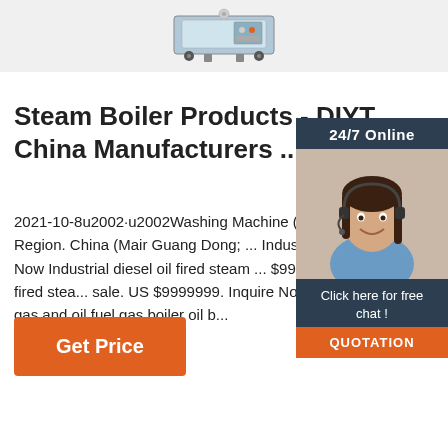[Figure (photo): Product image of a medical/industrial washing machine with wheels and feet, partially cropped at top]
Steam Boiler Products - DIYT China Manufacturers ...
2021-10-8u2002·u2002Washing Machine (3) Construction Machine (3) Region. China (Main Guang Dong; ... Industrial natural gas fired ste... Inquire Now Industrial diesel oil fired steam ... $9999999. Inquire Now 6 ton gas oil fired stea... sale. US $9999999. Inquire Now 1-20t h WNS steam capacity gas and oil fuel gas boiler oil b...
[Figure (photo): Customer service representative woman with headset smiling, shown in sidebar widget]
24/7 Online
Click here for free chat !
QUOTATION
Get Price